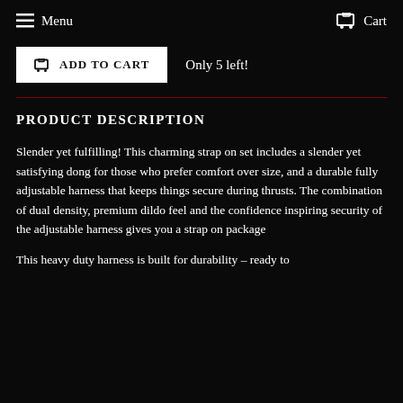Menu    Cart
ADD TO CART    Only 5 left!
PRODUCT DESCRIPTION
Slender yet fulfilling! This charming strap on set includes a slender yet satisfying dong for those who prefer comfort over size, and a durable fully adjustable harness that keeps things secure during thrusts. The combination of dual density, premium dildo feel and the confidence inspiring security of the adjustable harness gives you a strap on package
This heavy duty harness is built for durability – ready to